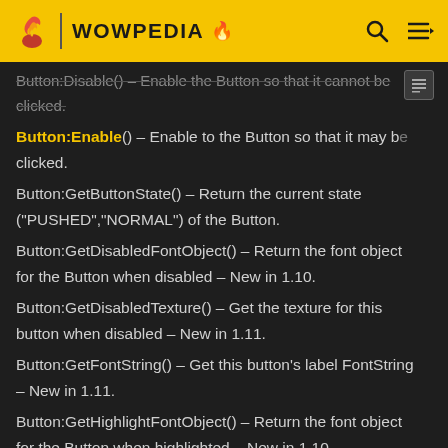WOWPEDIA
Button:Disable() – Enable the Button so that it cannot be clicked.
Button:Enable() – Enable to the Button so that it may be clicked.
Button:GetButtonState() – Return the current state ("PUSHED","NORMAL") of the Button.
Button:GetDisabledFontObject() – Return the font object for the Button when disabled – New in 1.10.
Button:GetDisabledTexture() – Get the texture for this button when disabled – New in 1.11.
Button:GetFontString() – Get this button's label FontString – New in 1.11.
Button:GetHighlightFontObject() – Return the font object for the Button when highlighted – New in 1.10.
Button:GetHighlightTexture() – Get the texture for this